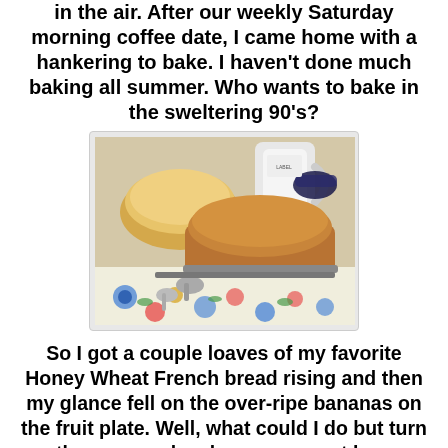in the air. After our weekly Saturday morning coffee date, I came home with a hankering to bake. I haven't done much baking all summer. Who wants to bake in the sweltering 90's?
[Figure (photo): Photo of freshly baked loaves of bread in pans on a floral tablecloth, with measuring spoons and a white pitcher/sugar bowl in the background.]
So I got a couple loaves of my favorite Honey Wheat French bread rising and then my glance fell on the over-ripe bananas on the fruit plate. Well, what could I do but turn on the oven and make some sweet banana bread? No special recipe for that, just good ol' Betty Crocker. The Wheat Bread recipe came from a cookbook put out